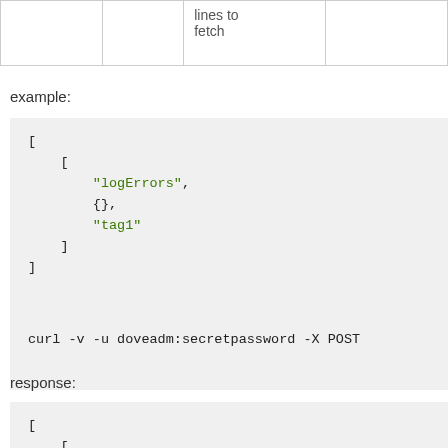|  |  |  |  |
| --- | --- | --- | --- |
|  |  | lines to
fetch |  |
example:
[Figure (screenshot): Code block showing JSON array: [ [ "logErrors", {}, "tag1" ] ]]
[Figure (screenshot): Code block showing curl command: curl -v -u doveadm:secretpassword -X POST]
response:
[Figure (screenshot): Code block showing JSON array beginning: [ [ [ "doveadmResponse", []